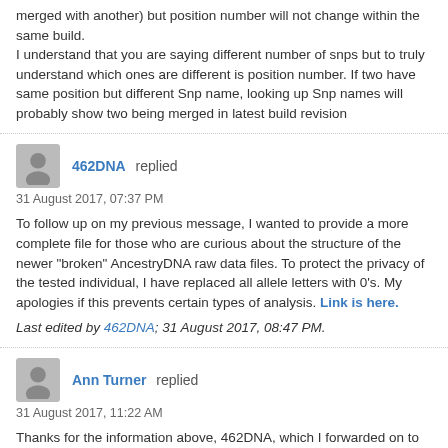merged with another) but position number will not change within the same build.
I understand that you are saying different number of snps but to truly understand which ones are different is position number. If two have same position but different Snp name, looking up Snp names will probably show two being merged in latest build revision
462DNA replied
31 August 2017, 07:37 PM
To follow up on my previous message, I wanted to provide a more complete file for those who are curious about the structure of the newer "broken" AncestryDNA raw data files. To protect the privacy of the tested individual, I have replaced all allele letters with 0's. My apologies if this prevents certain types of analysis. Link is here.
Last edited by 462DNA; 31 August 2017, 08:47 PM.
Ann Turner replied
31 August 2017, 11:22 AM
Thanks for the information above, 462DNA, which I forwarded on to Mike Cariaso of SNPedia. If he has any comments, I will post them here.